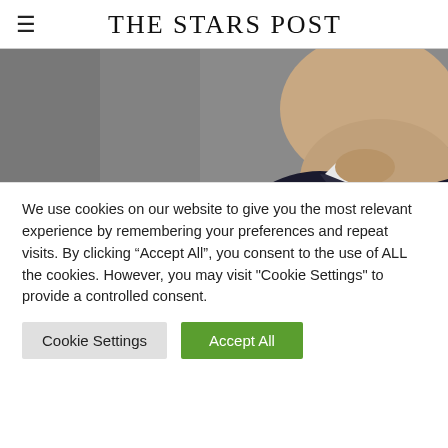THE STARS POST
[Figure (photo): Close-up photo of a man's lower face and neck, wearing a dark suit jacket, with a blurred gray background.]
Seattle fireman struggles to feed his family while on unpaid leave amid vaccine mandate
[ad_1] After serving six-and-a-half years with the Seattle fire department, 38-year-old Andy Pittman tells Fox News that he's
We use cookies on our website to give you the most relevant experience by remembering your preferences and repeat visits. By clicking “Accept All”, you consent to the use of ALL the cookies. However, you may visit "Cookie Settings" to provide a controlled consent.
Cookie Settings | Accept All